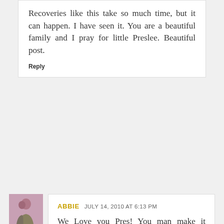Recoveries like this take so much time, but it can happen. I have seen it. You are a beautiful family and I pray for little Preslee. Beautiful post.
Reply
[Figure (photo): Small avatar photo showing two people embracing against a pink background]
ABBIE  JULY 14, 2010 AT 6:13 PM
We Love you Pres! You man make it Princess!! WE BELIEVE IN MIRACLES!! Pat and Ash you are AMAZING we pray for you a bazillion times a day! WE LOVE YOU

Love

Pat and Abbie